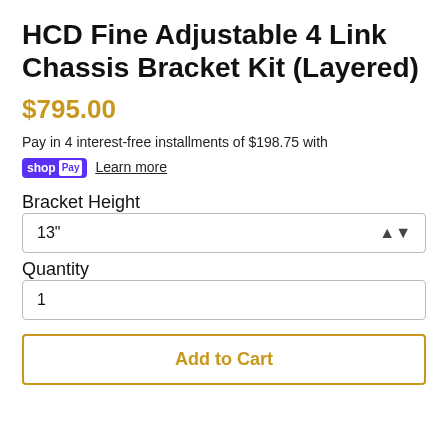HCD Fine Adjustable 4 Link Chassis Bracket Kit (Layered)
$795.00
Pay in 4 interest-free installments of $198.75 with shop Pay Learn more
Bracket Height
13"
Quantity
1
Add to Cart